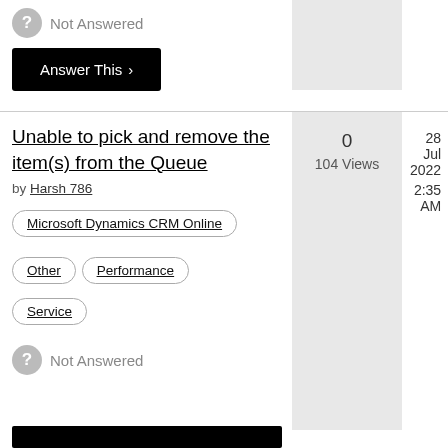Not Answered
Answer This >
Unable to pick and remove the item(s) from the Queue
by Harsh 786
0
104 Views
28 Jul 2022
2:35 AM
Microsoft Dynamics CRM Online
Other
Performance
Service
Not Answered